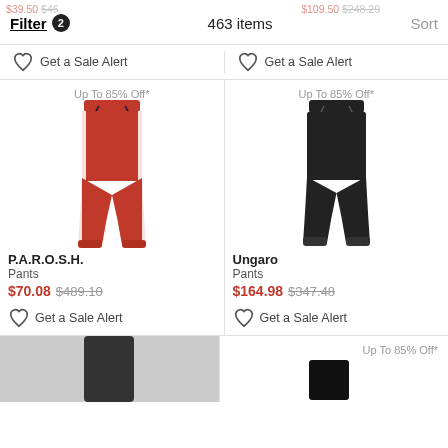Filter 2  463 items  Sort
Get a Sale Alert   Get a Sale Alert
[Figure (photo): Red jogger pants with white side stripes and dark drawstring waistband – P.A.R.O.S.H. brand]
Up To 85% Off*
P.A.R.O.S.H.
Pants
$70.08 $489.10
Get a Sale Alert
[Figure (photo): Black jogger pants with drawstring waistband – Ungaro brand]
Up To 85% Off*
Ungaro
Pants
$164.98 $347.48
Get a Sale Alert
Up To 85% Off*